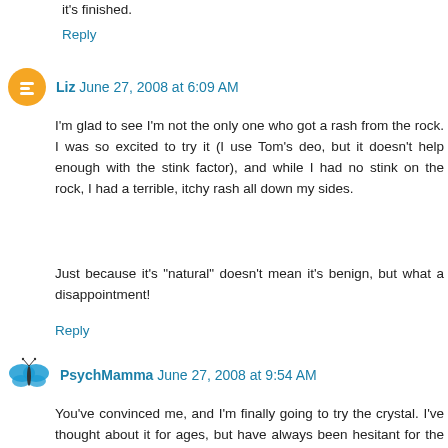it's finished.
Reply
Liz  June 27, 2008 at 6:09 AM
I'm glad to see I'm not the only one who got a rash from the rock. I was so excited to try it (I use Tom's deo, but it doesn't help enough with the stink factor), and while I had no stink on the rock, I had a terrible, itchy rash all down my sides.

Just because it's "natural" doesn't mean it's benign, but what a disappointment!
Reply
PsychMamma  June 27, 2008 at 9:54 AM
You've convinced me, and I'm finally going to try the crystal. I've thought about it for ages, but have always been hesitant for the very same reasons you listed. Your story